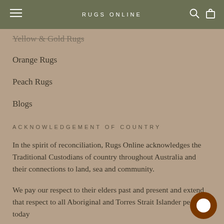RUGS ONLINE
Yellow & Gold Rugs
Orange Rugs
Peach Rugs
Blogs
ACKNOWLEDGEMENT OF COUNTRY
In the spirit of reconciliation, Rugs Online acknowledges the Traditional Custodians of country throughout Australia and their connections to land, sea and community.
We pay our respect to their elders past and present and extend that respect to all Aboriginal and Torres Strait Islander peoples today